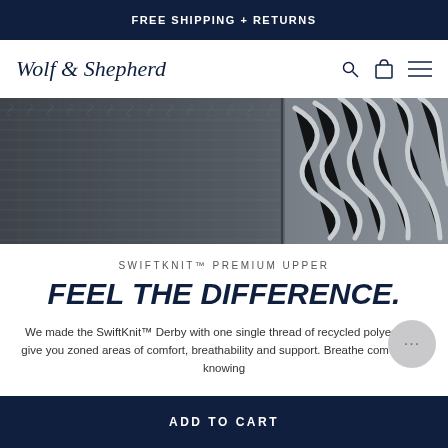FREE SHIPPING + RETURNS
Wolf & Shepherd
[Figure (photo): Close-up macro photo of a knit shoe upper fabric with white laces visible on the right side, shown in black and white / dark blue tones]
SWIFTKNIT™ PREMIUM UPPER
FEEL THE DIFFERENCE.
We made the SwiftKnit™ Derby with one single thread of recycled polyester to give you zoned areas of comfort, breathability and support. Breathe comfortably knowing your feet are made for the adventure.
ADD TO CART